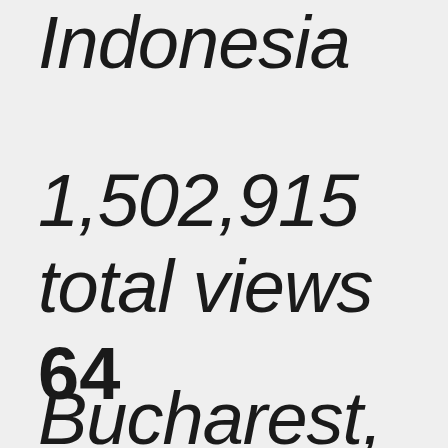Indonesia 1,502,915 total views
64
Bucharest, Romania